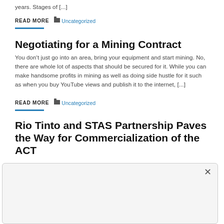years. Stages of [...]
READ MORE    Uncategorized
Negotiating for a Mining Contract
You don't just go into an area, bring your equipment and start mining. No, there are whole lot of aspects that should be secured for it. While you can make handsome profits in mining as well as doing side hustle for it such as when you buy YouTube views and publish it to the internet, [...]
READ MORE    Uncategorized
Rio Tinto and STAS Partnership Paves the Way for Commercialization of the ACT Technology